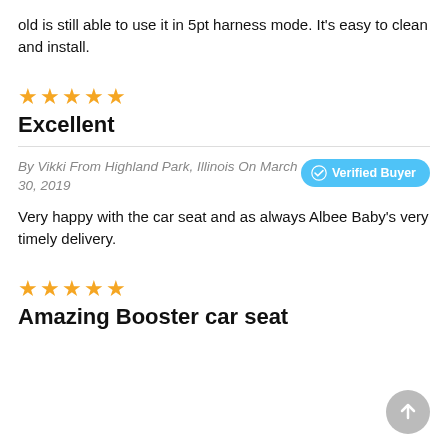old is still able to use it in 5pt harness mode. It's easy to clean and install.
[Figure (other): 5 gold/orange star rating icons]
Excellent
By Vikki From Highland Park, Illinois On March 30, 2019
Verified Buyer
Very happy with the car seat and as always Albee Baby's very timely delivery.
[Figure (other): 5 gold/orange star rating icons]
Amazing Booster car seat